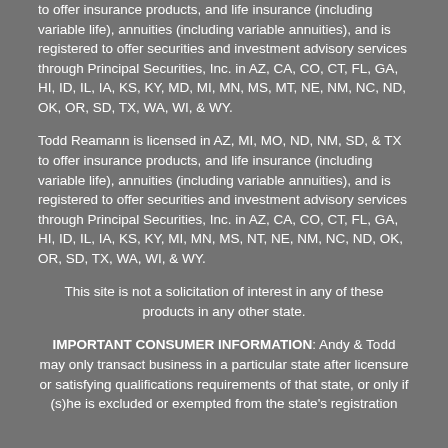to offer insurance products, and life insurance (including variable life), annuities (including variable annuities), and is registered to offer securities and investment advisory services through Principal Securities, Inc. in AZ, CA, CO, CT, FL, GA, HI, ID, IL, IA, KS, KY, MD, MI, MN, MS, MT, NE, NM, NC, ND, OK, OR, SD, TX, WA, WI, & WY.
Todd Reamann is licensed in AZ, MI, MO, ND, NM, SD, & TX to offer insurance products, and life insurance (including variable life), annuities (including variable annuities), and is registered to offer securities and investment advisory services through Principal Securities, Inc. in AZ, CA, CO, CT, FL, GA, HI, ID, IL, IA, KS, KY, MI, MN, MS, NT, NE, NM, NC, ND, OK, OR, SD, TX, WA, WI, & WY.
This site is not a solicitation of interest in any of these products in any other state.
IMPORTANT CONSUMER INFORMATION: Andy & Todd may only transact business in a particular state after licensure or satisfying qualifications requirements of that state, or only if (s)he is excluded or exempted from the state's registration